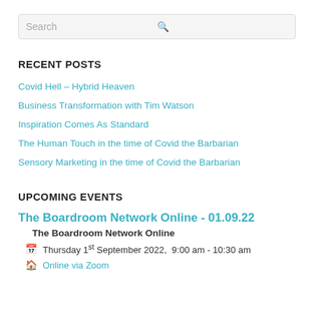[Figure (other): Search bar with placeholder text 'Search' and a search icon on the right]
RECENT POSTS
Covid Hell – Hybrid Heaven
Business Transformation with Tim Watson
Inspiration Comes As Standard
The Human Touch in the time of Covid the Barbarian
Sensory Marketing in the time of Covid the Barbarian
UPCOMING EVENTS
The Boardroom Network Online - 01.09.22
The Boardroom Network Online
Thursday 1st September 2022,  9:00 am - 10:30 am
Online via Zoom